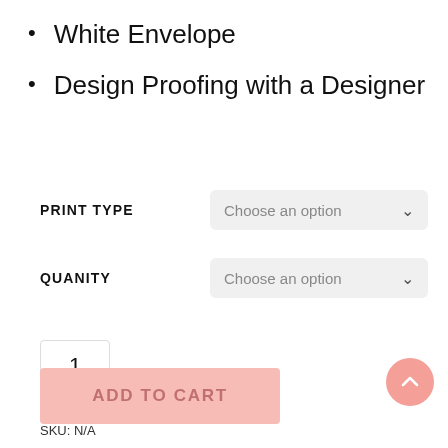White Envelope
Design Proofing with a Designer
PRINT TYPE   Choose an option
QUANITY   Choose an option
1
ADD TO CART
SKU: N/A